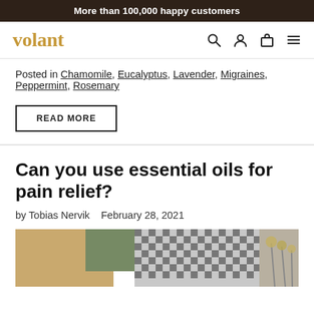More than 100,000 happy customers
[Figure (logo): Volant brand logo in gold serif font with navigation icons (search, user, cart, menu)]
Posted in Chamomile, Eucalyptus, Lavender, Migraines, Peppermint, Rosemary
READ MORE
Can you use essential oils for pain relief?
by Tobias Nervik   February 28, 2021
[Figure (photo): Photo of a cozy room setting with a wooden table, plant, patterned cushion, and dried flowers]